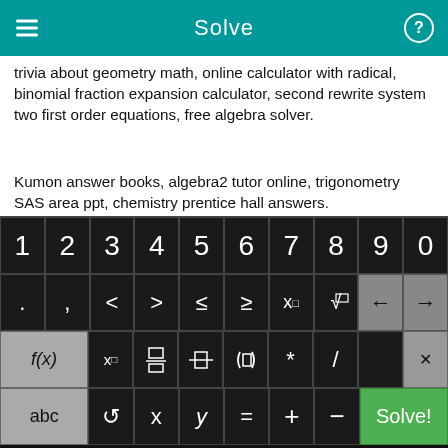Solve
trivia about geometry math, online calculator with radical, binomial fraction expansion calculator, second rewrite system two first order equations, free algebra solver.
Kumon answer books, algebra2 tutor online, trigonometry SAS area ppt, chemistry prentice hall answers.
Practice math equations using percentages, differential equations edwards penney solution manual download, Hypotenuse-Angle Theorem definition,
[Figure (screenshot): Calculator keyboard with digits 1-0, math symbols, function keys f(x), x subscript, fraction, absolute value, parenthesis, multiply, divide, delete, and bottom row with abc, refresh, x, y, equals, plus, minus, and Solve! button in green.]